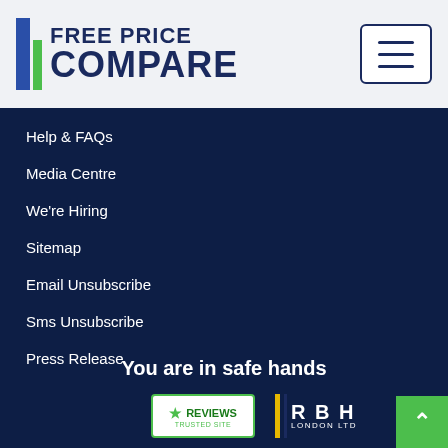[Figure (logo): Free Price Compare logo with blue and green vertical bars and dark navy text]
Help & FAQs
Media Centre
We're Hiring
Sitemap
Email Unsubscribe
Sms Unsubscribe
Press Release
You are in safe hands
[Figure (logo): Reviews trusted site badge with green star and border]
[Figure (logo): RBH London Ltd logo with yellow and dark bars]